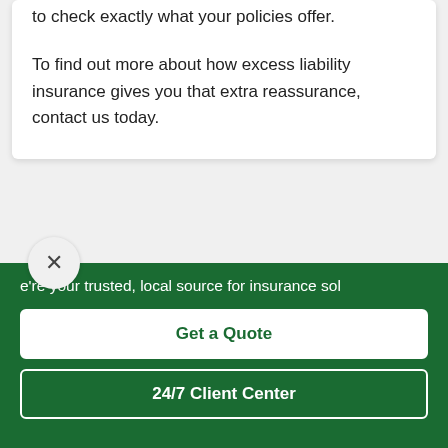to check exactly what your policies offer.
To find out more about how excess liability insurance gives you that extra reassurance, contact us today.
e're your trusted, local source for insurance sol
Get a Quote
24/7 Client Center